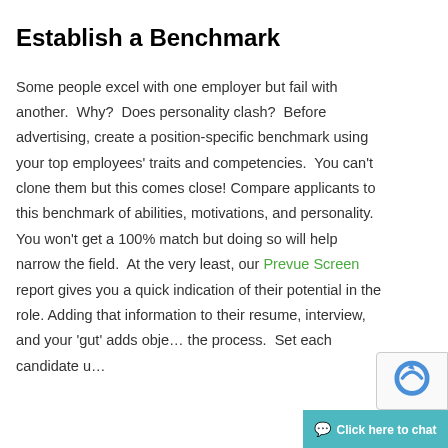Establish a Benchmark
Some people excel with one employer but fail with another.  Why?  Does personality clash?  Before advertising, create a position-specific benchmark using your top employees' traits and competencies.  You can't clone them but this comes close!  Compare applicants to this benchmark of abilities, motivations, and personality.  You won't get a 100% match but doing so will help narrow the field.  At the very least, our Prevue Screen report gives you a quick indication of their potential in the role.  Adding that information to their resume, interview, and your 'gut' adds obje… the process.  Set each candidate u…